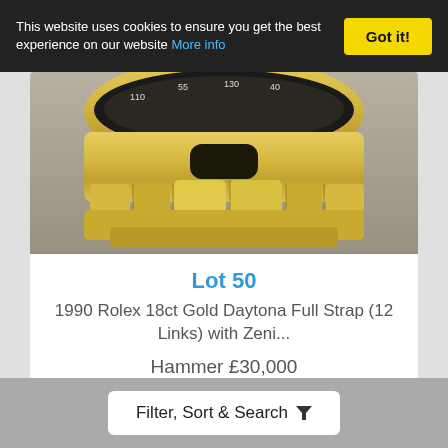This website uses cookies to ensure you get the best experience on our website More info | Got it!
[Figure (photo): Close-up photo of a gold Rolex Daytona watch top, showing the bezel and bracelet links in 18ct gold]
Lot 50
1990 Rolex 18ct Gold Daytona Full Strap (12 Links) with Zeni...
Hammer £30,000
Fees ❓
♡ Watch Lot
Filter, Sort & Search ▼